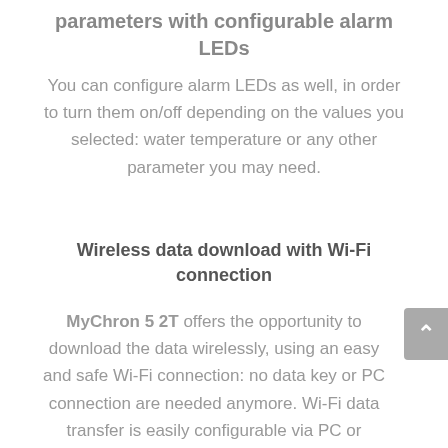parameters with configurable alarm LEDs
You can configure alarm LEDs as well, in order to turn them on/off depending on the values you selected: water temperature or any other parameter you may need.
Wireless data download with Wi-Fi connection
MyChron 5 2T offers the opportunity to download the data wirelessly, using an easy and safe Wi-Fi connection: no data key or PC connection are needed anymore. Wi-Fi data transfer is easily configurable via PC or